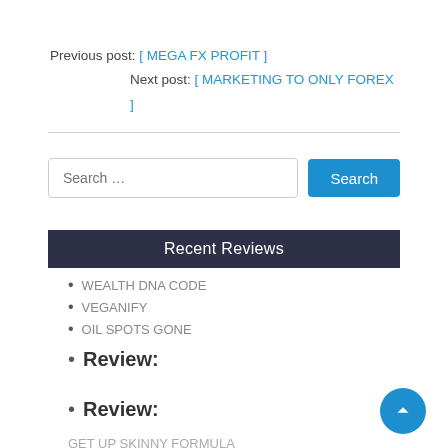Previous post: [ MEGA FX PROFIT ]
Next post: [ MARKETING TO ONLY FOREX ]
Recent Reviews
WEALTH DNA CODE
VEGANIFY
OIL SPOTS GONE
Review:
Review:
GET UP SKINNY FORMULA